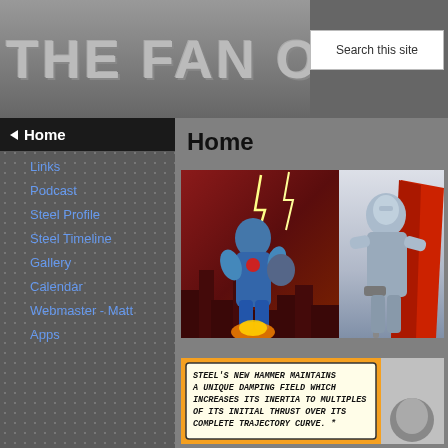THE FAN OF ST...
Home
Home
Links
Podcast
Steel Profile
Steel Timeline
Gallery
Calendar
Webmaster - Matt
Apps
[Figure (illustration): Two comic book panels of a steel superhero in metallic armor flying over a destroyed cityscape with lightning, and another view with a red cape holding a weapon]
[Figure (illustration): Comic book panel with text: STEEL'S NEW HAMMER MAINTAINS A UNIQUE DAMPING FIELD WHICH INCREASES ITS INERTIA TO MULTIPLES OF ITS INITIAL THRUST OVER ITS COMPLETE TRAJECTORY CURVE. *]